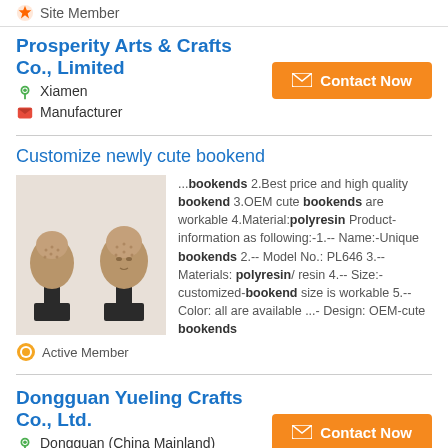Site Member
Prosperity Arts & Crafts Co., Limited
Xiamen
Manufacturer
Contact Now
Customize newly cute bookend
[Figure (photo): Two Buddha head statues on black stands]
...bookends 2.Best price and high quality bookend 3.OEM cute bookends are workable 4.Material:polyresin Product-information as following:-1.-- Name:-Unique bookends 2.-- Model No.: PL646 3.-- Materials: polyresin/ resin 4.-- Size:- customized-bookend size is workable 5.-- Color: all are available ...- Design: OEM-cute bookends
Active Member
Dongguan Yueling Crafts Co., Ltd.
Dongguan (China Mainland)
Manufacturer
Contact Now
Polyresin Angel Bookend  Book Stand (SER0806)